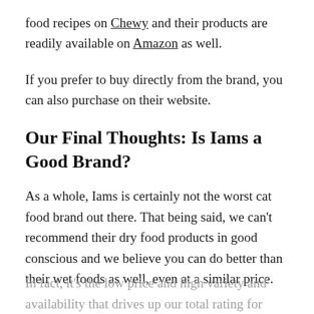food recipes on Chewy and their products are readily available on Amazon as well.
If you prefer to buy directly from the brand, you can also purchase on their website.
Our Final Thoughts: Is Iams a Good Brand?
As a whole, Iams is certainly not the worst cat food brand out there. That being said, we can't recommend their dry food products in good conscious and we believe you can do better than their wet foods as well, even at a similar price.
In fact, it's the low price and high variety and availability that drives up our total rating for